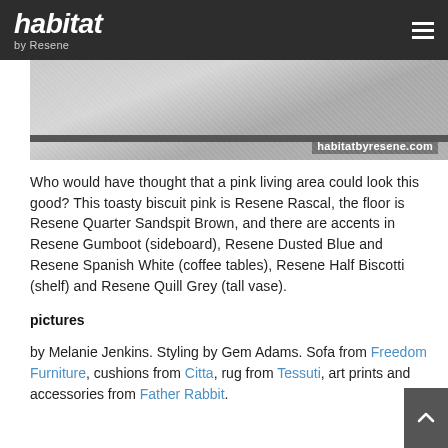habitat by Resene
[Figure (photo): Close-up photo of a woven grey textile/rug with a dark bar border, watermarked habitatbyresene.com]
Who would have thought that a pink living area could look this good? This toasty biscuit pink is Resene Rascal, the floor is Resene Quarter Sandspit Brown, and there are accents in Resene Gumboot (sideboard), Resene Dusted Blue and Resene Spanish White (coffee tables), Resene Half Biscotti (shelf) and Resene Quill Grey (tall vase).
pictures
by Melanie Jenkins. Styling by Gem Adams. Sofa from Freedom Furniture, cushions from Citta, rug from Tessuti, art prints and accessories from Father Rabbit.